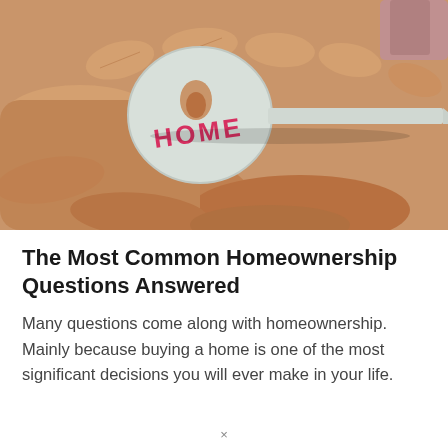[Figure (photo): A hand holding a light grey house key with the word HOME written in pink/red letters on the key head.]
The Most Common Homeownership Questions Answered
Many questions come along with homeownership. Mainly because buying a home is one of the most significant decisions you will ever make in your life.